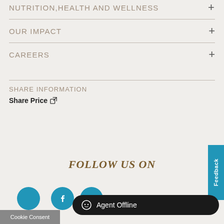NUTRITION, HEALTH AND WELLNESS +
OUR IMPACT +
CAREERS +
SHARE INFORMATION
Share Price ↗
FOLLOW US ON
[Figure (infographic): Social media icons: blue circle (partial), Facebook blue circle, YouTube blue circle]
Agent Offline
Cookie Consent
Feedback